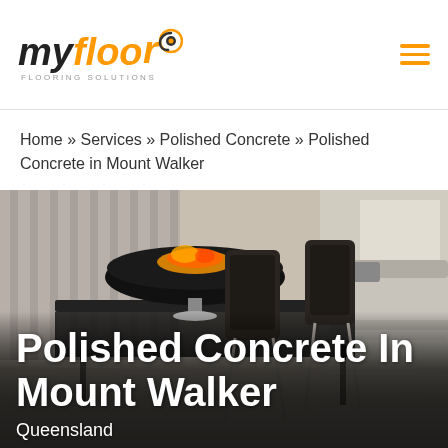[Figure (logo): myfloor Flooring Solutions logo with orange swirl icon and hamburger menu icon]
Home » Services » Polished Concrete » Polished Concrete in Mount Walker
[Figure (photo): Interior room photo showing modern chairs around a table with a spherical fire bowl, polished concrete floor visible, with overlaid text 'Polished Concrete In Mount Walker' and 'Queensland']
Polished Concrete In Mount Walker
Queensland